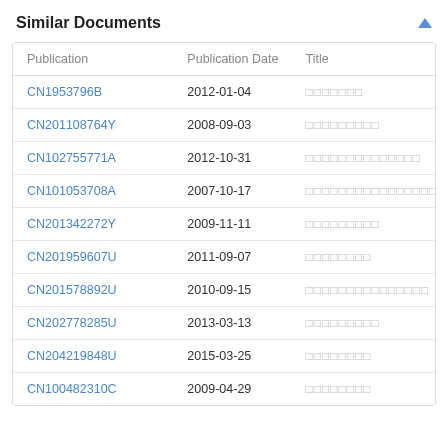Similar Documents
| Publication | Publication Date | Title |
| --- | --- | --- |
| CN1953796B | 2012-01-04 | □□□□□□□ |
| CN201108764Y | 2008-09-03 | □□□□□□□□□ |
| CN102755771A | 2012-10-31 | □□□□□□□□□□□□□□ |
| CN101053708A | 2007-10-17 | □□□□□□□□□□□□□□□□ |
| CN201342272Y | 2009-11-11 | □□□□□□□□□ |
| CN201959607U | 2011-09-07 | □□□□□□□□ |
| CN201578892U | 2010-09-15 | □□□□□□□□□□□□□□□ |
| CN202778285U | 2013-03-13 | □□□□□□□□□ |
| CN204219848U | 2015-03-25 | □□□□□□□□ |
| CN100482310C | 2009-04-29 | □□□□□□□□ |